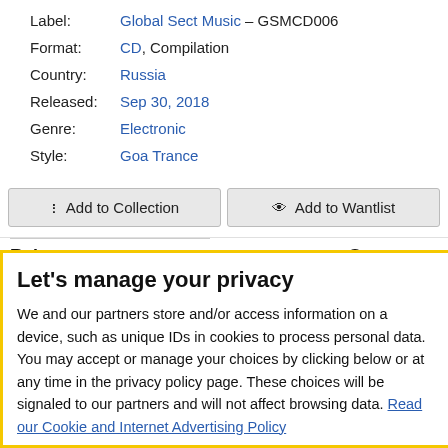Label: Global Sect Music – GSMCD006
Format: CD, Compilation
Country: Russia
Released: Sep 30, 2018
Genre: Electronic
Style: Goa Trance
Add to Collection
Add to Wantlist
Release
[r12613738]
Let's manage your privacy
We and our partners store and/or access information on a device, such as unique IDs in cookies to process personal data. You may accept or manage your choices by clicking below or at any time in the privacy policy page. These choices will be signaled to our partners and will not affect browsing data. Read our Cookie and Internet Advertising Policy